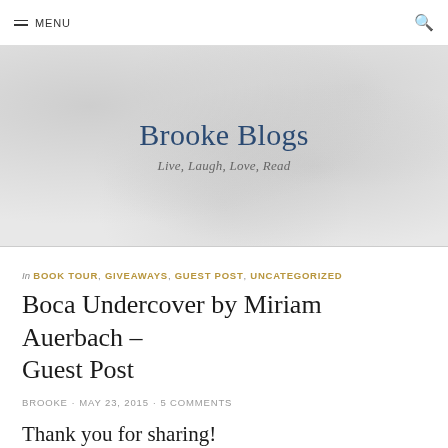MENU
Brooke Blogs
Live, Laugh, Love, Read
In BOOK TOUR, GIVEAWAYS, GUEST POST, UNCATEGORIZED
Boca Undercover by Miriam Auerbach – Guest Post
BROOKE · MAY 23, 2015 · 5 COMMENTS
Thank you for sharing!